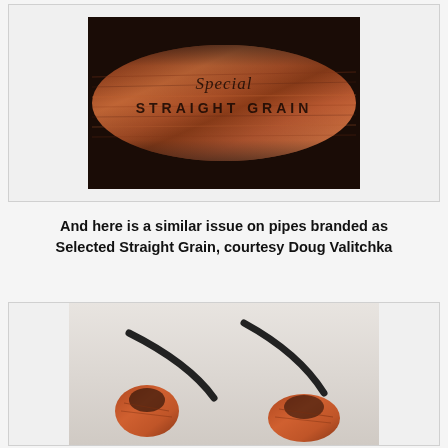[Figure (photo): Close-up photo of a briar pipe shank with stamped inscription reading 'Special STRAIGHT GRAIN' in script and block letters, showing reddish-brown wood grain texture]
And here is a similar issue on pipes branded as Selected Straight Grain, courtesy Doug Valitchka
[Figure (photo): Photo of two briar pipes branded as Selected Straight Grain, showing similar stamping issue, courtesy of Doug Valitchka. Pipes have black stems and reddish-brown briar bowls.]